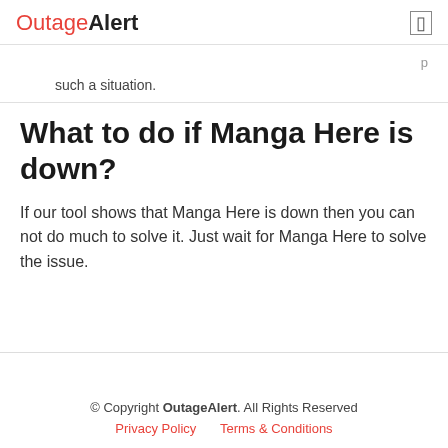OutageAlert
such a situation.
What to do if Manga Here is down?
If our tool shows that Manga Here is down then you can not do much to solve it. Just wait for Manga Here to solve the issue.
© Copyright OutageAlert. All Rights Reserved
Privacy Policy   Terms & Conditions